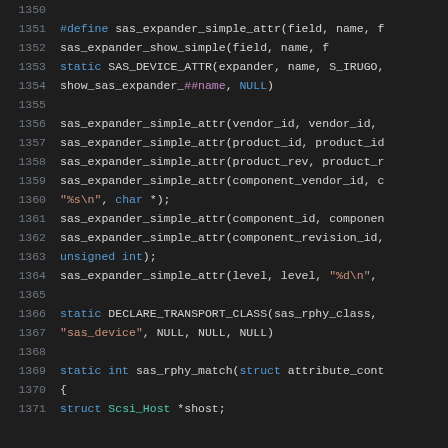[Figure (screenshot): C source code snippet with syntax highlighting, lines 1350-1371, showing Linux kernel SAS expander driver code with macro definitions, static function declarations, and struct usage.]